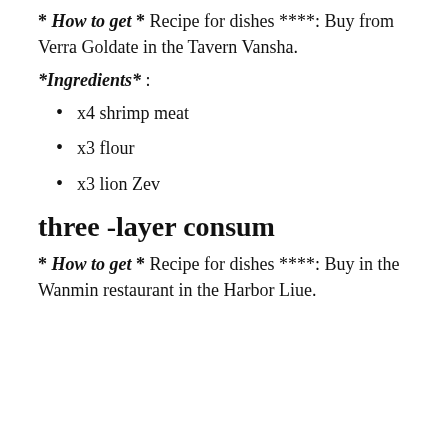* How to get * Recipe for dishes ****: Buy from Verra Goldate in the Tavern Vansha.
*Ingredients* :
x4 shrimp meat
x3 flour
x3 lion Zev
three -layer consum
* How to get * Recipe for dishes ****: Buy in the Wanmin restaurant in the Harbor Liue.